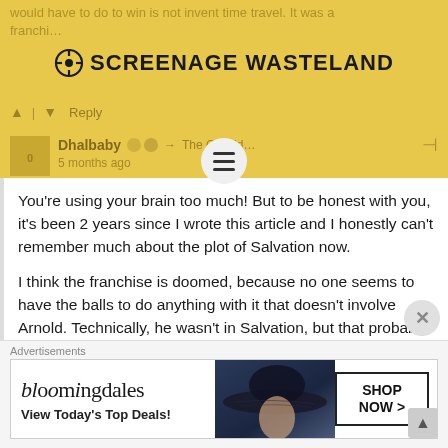would have to do to win is not invent time travel. It was a franchi… ☢ SCREENAGE WASTELAND
Dhalbaby → The Consid… 5 months ago
You're using your brain too much! But to be honest with you, it's been 2 years since I wrote this article and I honestly can't remember much about the plot of Salvation now.

I think the franchise is doomed, because no one seems to have the balls to do anything with it that doesn't involve Arnold. Technically, he wasn't in Salvation, but that probably had less to do with the filmmakers having any balls and more to do with the fact that he was busy being the governator. With deep fake technology, old age is no longer a factor, so maybe we will continue to get
[Figure (other): Bloomingdales advertisement banner: 'bloomingdales - View Today's Top Deals!' with woman in large hat and SHOP NOW > button]